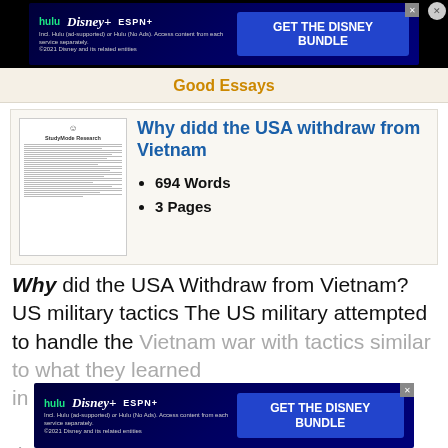[Figure (other): Disney Bundle advertisement banner with Hulu, Disney+, ESPN+ logos and 'GET THE DISNEY BUNDLE' call to action]
Good Essays
[Figure (other): Thumbnail image of an essay document page]
Why didd the USA withdraw from Vietnam
694 Words
3 Pages
Why did the USA Withdraw from Vietnam? US military tactics The US military attempted to handle the Vietnam war with tactics similar to what they learned in World War II, trying to overwhelm the enemy... not having to break the frontline themselves made this
[Figure (other): Disney Bundle advertisement banner with Hulu, Disney+, ESPN+ logos and 'GET THE DISNEY BUNDLE' call to action (bottom)]